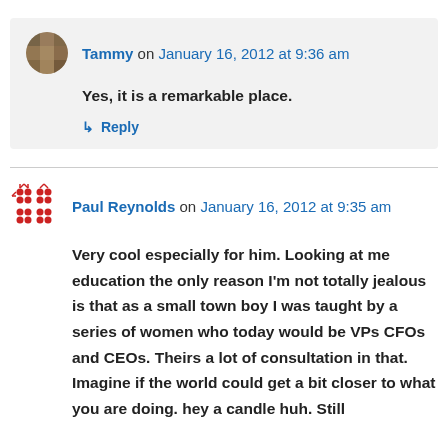Tammy on January 16, 2012 at 9:36 am
Yes, it is a remarkable place.
↳ Reply
Paul Reynolds on January 16, 2012 at 9:35 am
Very cool especially for him. Looking at me education the only reason I'm not totally jealous is that as a small town boy I was taught by a series of women who today would be VPs CFOs and CEOs. Theirs a lot of consultation in that. Imagine if the world could get a bit closer to what you are doing. hey a candle huh. Still